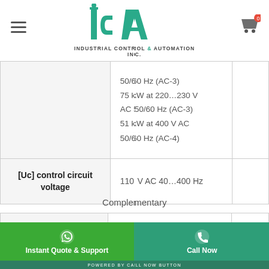[Figure (logo): ICA Industrial Control & Automation Inc. logo with teal/green color scheme]
|  |  |  |
| --- | --- | --- |
|  | 50/60 Hz (AC-3) 75 kW at 220...230 V AC 50/60 Hz (AC-3) 51 kW at 400 V AC 50/60 Hz (AC-4) |  |
| [Uc] control circuit voltage | 110 V AC 40...400 Hz |  |
Complementary
|  |  |  |
| --- | --- | --- |
| [Uimp] rated impulse | 8 kV |  |